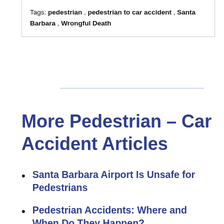Tags: pedestrian , pedestrian to car accident , Santa Barbara , Wrongful Death
More Pedestrian – Car Accident Articles
Santa Barbara Airport Is Unsafe for Pedestrians
Pedestrian Accidents: Where and When Do They Happen?
SBPD Hopes to Make Roads Safer for Bicyclists and Pedestrians